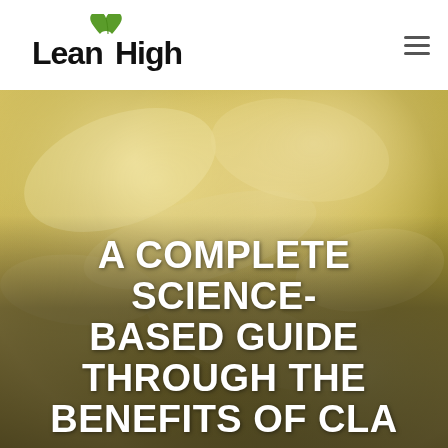[Figure (logo): Lean High logo with green leaf accent above the 'H' in High, black bold text]
[Figure (photo): Close-up blurred photo of sliced food items (possibly garlic or nuts) in warm yellow-gold tones, serving as a hero background image]
A COMPLETE SCIENCE-BASED GUIDE THROUGH THE BENEFITS OF CLA